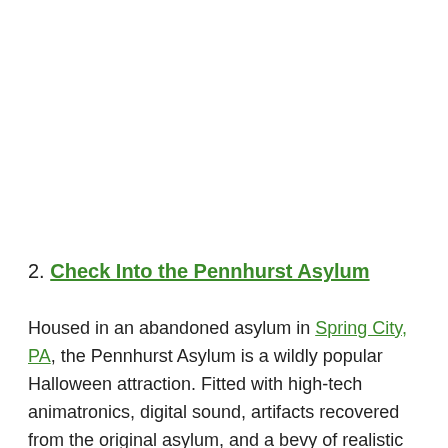2. Check Into the Pennhurst Asylum
Housed in an abandoned asylum in Spring City, PA, the Pennhurst Asylum is a wildly popular Halloween attraction. Fitted with high-tech animatronics, digital sound, artifacts recovered from the original asylum, and a bevy of realistic actors, a walk-through this dilapidated hospital is no joke. For those bold (or crazy) enough to make it through the narrow hallways of the hospital, the asylum offers two more haunted experiences in the Dungeon of Lost Souls or the Tunnel of